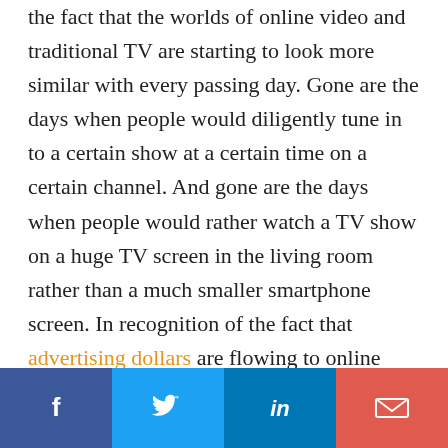the fact that the worlds of online video and traditional TV are starting to look more similar with every passing day. Gone are the days when people would diligently tune in to a certain show at a certain time on a certain channel. And gone are the days when people would rather watch a TV show on a huge TV screen in the living room rather than a much smaller smartphone screen. In recognition of the fact that advertising dollars are flowing to online video platforms, TV industry professionals are scrambling to reinvent their
[Figure (infographic): Social media share bar with four buttons: Facebook (dark blue), Twitter (light blue), LinkedIn (medium blue), Email (red-orange)]